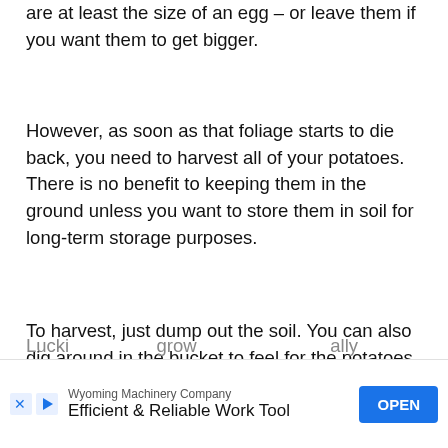are at least the size of an egg – or leave them if you want them to get bigger.
However, as soon as that foliage starts to die back, you need to harvest all of your potatoes. There is no benefit to keeping them in the ground unless you want to store them in soil for long-term storage purposes.
To harvest, just dump out the soil. You can also dig around in the bucket to feel for the potatoes, but that takes much more time and you might miss some.
Potato Pests and Diseases
Lucki… grow… ally
[Figure (other): Advertisement banner: Wyoming Machinery Company – Efficient & Reliable Work Tool, with OPEN button]